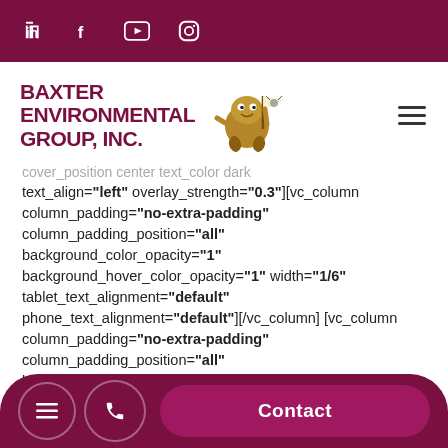Social media icons: LinkedIn, Facebook, YouTube, Instagram
[Figure (logo): Baxter Environmental Group, Inc. logo with mascot character holding a flag]
cover_position center text_color dark text_align="left" overlay_strength="0.3"][vc_column column_padding="no-extra-padding" column_padding_position="all" background_color_opacity="1" background_hover_color_opacity="1" width="1/6" tablet_text_alignment="default" phone_text_alignment="default"][/vc_column][vc_column column_padding="no-extra-padding" column_padding_position="all" background_color_opacity="1" background_hover_color_opacity="1" tablet_text_alignment="default"
Menu | Phone | Contact